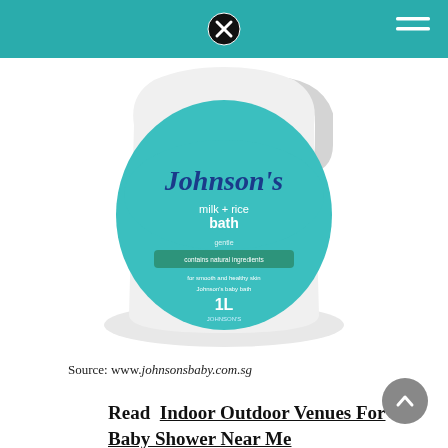[Figure (photo): Johnson's milk + rice bath 1L product bottle, white plastic with teal/turquoise label]
Source: www.johnsonsbaby.com.sg
Read  Indoor Outdoor Venues For Baby Shower Near Me
Similarly, the same applies for oat milk or almond milk. We discussed several options